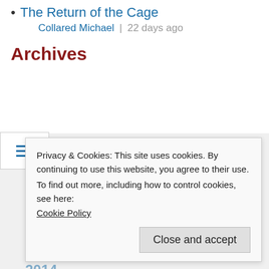The Return of the Cage
Collared Michael | 22 days ago
Archives
2022
2021
2020
2019
2018
2014
Privacy & Cookies: This site uses cookies. By continuing to use this website, you agree to their use.
To find out more, including how to control cookies, see here:
Cookie Policy
Close and accept